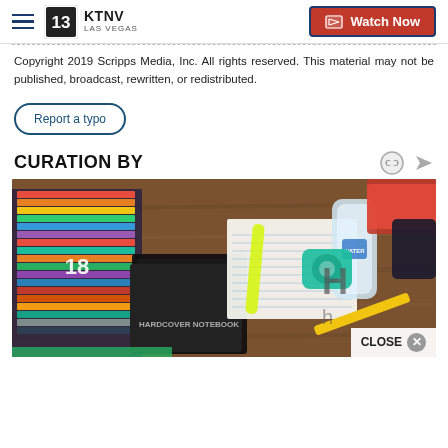KTNV LAS VEGAS — Watch Now
Copyright 2019 Scripps Media, Inc. All rights reserved. This material may not be published, broadcast, rewritten, or redistributed.
Report a typo
CURATION BY
[Figure (photo): School supplies laid out on a wooden table including colored pencils, notebooks, a water bottle, highlighter, pencil, snack packages, and a tape dispenser.]